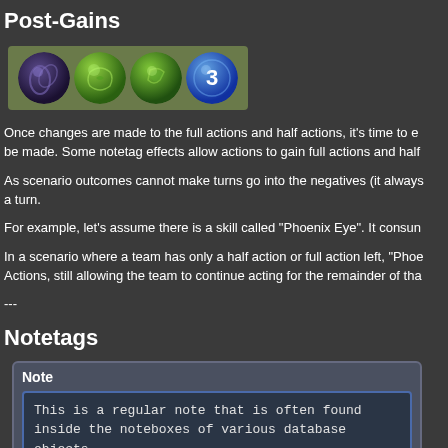Post-Gains
[Figure (illustration): A horizontal strip with green background showing four circular icons: a dark purple/blue swirling ball, two green textured balls, and a blue ball with the number 3 on it.]
Once changes are made to the full actions and half actions, it's time to e... be made. Some notetag effects allow actions to gain full actions and half...
As scenario outcomes cannot make turns go into the negatives (it always... a turn.
For example, let's assume there is a skill called "Phoenix Eye". It consun...
In a scenario where a team has only a half action or full action left, "Phoe... Actions, still allowing the team to continue acting for the remainder of tha...
---
Notetags
Note
This is a regular note that is often found inside the noteboxes of various database objects.